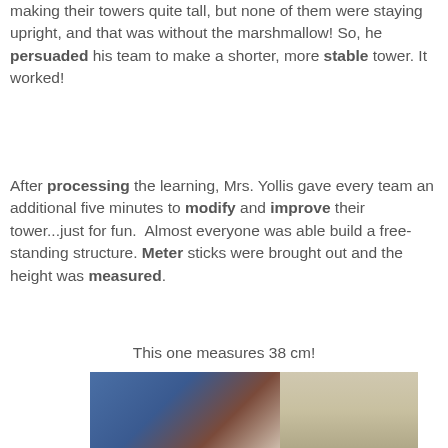making their towers quite tall, but none of them were staying upright, and that was without the marshmallow! So, he persuaded his team to make a shorter, more stable tower. It worked!
After processing the learning, Mrs. Yollis gave every team an additional five minutes to modify and improve their tower...just for fun. Almost everyone was able build a free-standing structure. Meter sticks were brought out and the height was measured.
This one measures 38 cm!
[Figure (photo): A classroom photo showing a marshmallow tower challenge setup, with colorful decorations on the left side and what appears to be a tall tower structure on the right side being measured.]